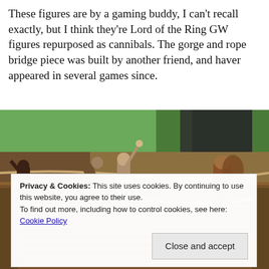These figures are by a gaming buddy, I can't recall exactly, but I think they're Lord of the Ring GW figures repurposed as cannibals. The gorge and rope bridge piece was built by another friend, and haver appeared in several games since.
[Figure (photo): Close-up photo of miniature figurines on a rope bridge game piece. The figures appear to be cannibal-themed miniatures crossing a wooden rope bridge, with a green gaming terrain board visible in the background showing fields and paths.]
Privacy & Cookies: This site uses cookies. By continuing to use this website, you agree to their use.
To find out more, including how to control cookies, see here: Cookie Policy
Close and accept